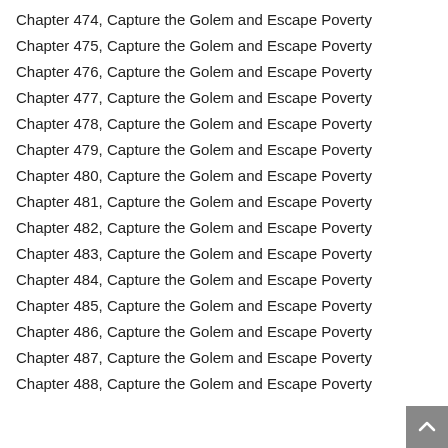Chapter 474, Capture the Golem and Escape Poverty
Chapter 475, Capture the Golem and Escape Poverty
Chapter 476, Capture the Golem and Escape Poverty
Chapter 477, Capture the Golem and Escape Poverty
Chapter 478, Capture the Golem and Escape Poverty
Chapter 479, Capture the Golem and Escape Poverty
Chapter 480, Capture the Golem and Escape Poverty
Chapter 481, Capture the Golem and Escape Poverty
Chapter 482, Capture the Golem and Escape Poverty
Chapter 483, Capture the Golem and Escape Poverty
Chapter 484, Capture the Golem and Escape Poverty
Chapter 485, Capture the Golem and Escape Poverty
Chapter 486, Capture the Golem and Escape Poverty
Chapter 487, Capture the Golem and Escape Poverty
Chapter 488, Capture the Golem and Escape Poverty